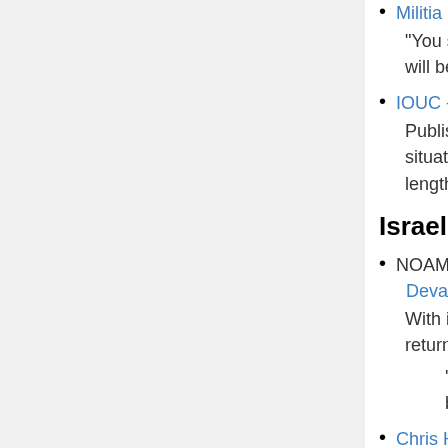Militia plans to guard border by aiming g
“You see an illegal? You point your gun … will be shot.’”
IOUC - Full Ukraine Crisis Report (Dec 2…
Published on Jul 4, 2014 - A full report o… situation today in July 2014. Footage fro… length documentary from a Politically Ne…
Israel-Palestine & Middle East
NOAM CHOMSKY: For Gaza, ‘The Norm… Devastating
With its latest offensive, Israel’s objective… return to the status quo.
‘We have no dignity, no pride; we are… better to just die.’
Chris Hedges: Why Israel Lies
All governments lie, as I.F. Stone pointe… that characterize despotic and totalitaria… outside world that is diametrically oppos…